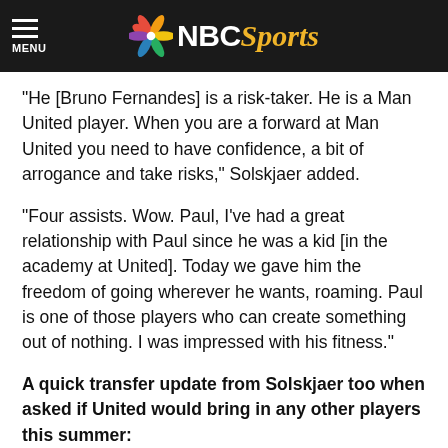NBC Sports
“He [Bruno Fernandes] is a risk-taker. He is a Man United player. When you are a forward at Man United you need to have confidence, a bit of arrogance and take risks,” Solskjaer added.
“Four assists. Wow. Paul, I’ve had a great relationship with Paul since he was a kid [in the academy at United]. Today we gave him the freedom of going wherever he wants, roaming. Paul is one of those players who can create something out of nothing. I was impressed with his fitness.”
A quick transfer update from Solskjaer too when asked if United would bring in any other players this summer: